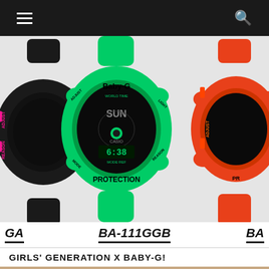Navigation bar with menu and search icons
[Figure (photo): Three Casio Baby-G watches side by side. Left: black watch with pink accents. Center: green watch with black dial showing Baby-G and PROTECTION text, model BA-111GGB. Right: orange/red watch partially visible.]
GA   BA-111GGB   BA
GIRLS' GENERATION X BABY-G!
[Figure (photo): Partial photo of a person wearing a watch, cropped at bottom of page.]